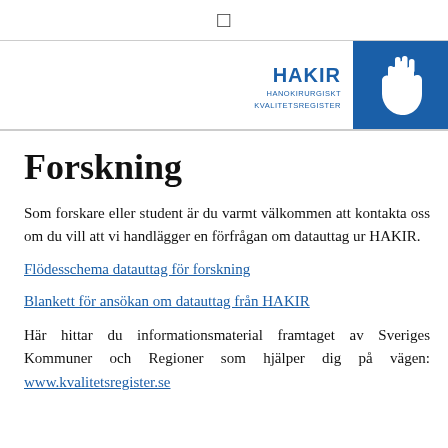[ ] HAKIR HANOKIRURGISKT KVALITETSREGISTER
Forskning
Som forskare eller student är du varmt välkommen att kontakta oss om du vill att vi handlägger en förfrågan om datauttag ur HAKIR.
Flödesschema datauttag för forskning
Blankett för ansökan om datauttag från HAKIR
Här hittar du informationsmaterial framtaget av Sveriges Kommuner och Regioner som hjälper dig på vägen: www.kvalitetsregister.se